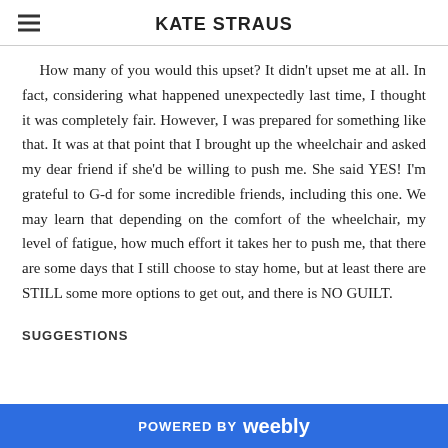KATE STRAUS
How many of you would this upset? It didn't upset me at all. In fact, considering what happened unexpectedly last time, I thought it was completely fair. However, I was prepared for something like that. It was at that point that I brought up the wheelchair and asked my dear friend if she'd be willing to push me. She said YES! I'm grateful to G-d for some incredible friends, including this one. We may learn that depending on the comfort of the wheelchair, my level of fatigue, how much effort it takes her to push me, that there are some days that I still choose to stay home, but at least there are STILL some more options to get out, and there is NO GUILT.
SUGGESTIONS
POWERED BY weebly